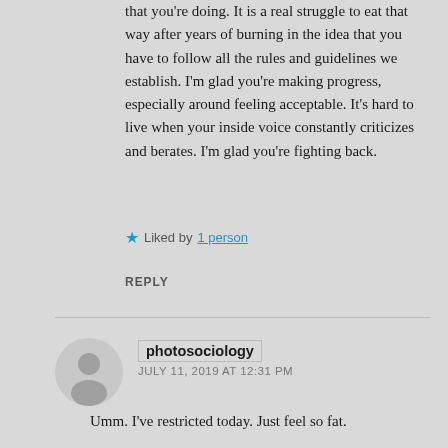that you're doing. It is a real struggle to eat that way after years of burning in the idea that you have to follow all the rules and guidelines we establish. I'm glad you're making progress, especially around feeling acceptable. It's hard to live when your inside voice constantly criticizes and berates. I'm glad you're fighting back.
★ Liked by 1 person
REPLY
photosociology
JULY 11, 2019 AT 12:31 PM
Umm. I've restricted today. Just feel so fat.